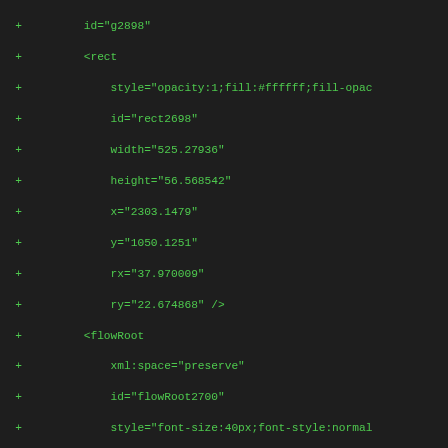Code diff showing SVG/XML markup additions including rect, flowRoot, flowRegion elements with various attributes